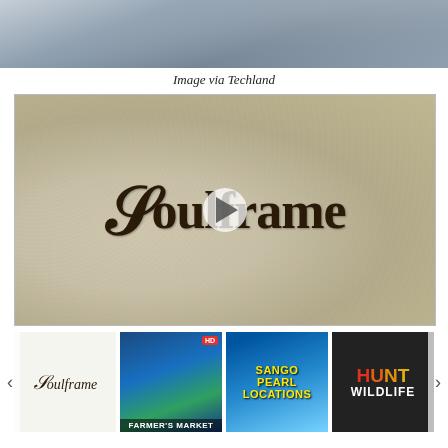[Figure (photo): Top portion of a screenshot image, partially visible, showing a dark scene possibly a game environment]
Image via Techland
[Figure (screenshot): Video thumbnail showing the Soulframe game logo on a textured stone/ice background with a play button overlay]
[Figure (photo): Carousel of four video thumbnails: Soulframe logo, Farmer's Market game scene, Sango Pearl Locations, Hunt Wildlife]